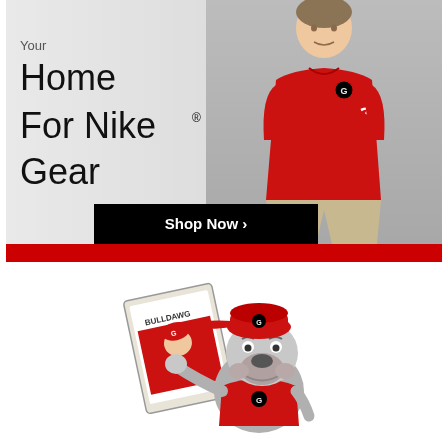[Figure (photo): Advertisement banner showing a man wearing a red Georgia Bulldogs Nike polo shirt against a light gray background. Text reads 'Your Home For Nike® Gear' with a black 'Shop Now >' button. Red bar at bottom.]
[Figure (illustration): Cartoon illustration of a bulldog mascot wearing a red Georgia Bulldogs cap and jersey, holding up a 'Bulldawg' magazine/card featuring another bulldog player image.]